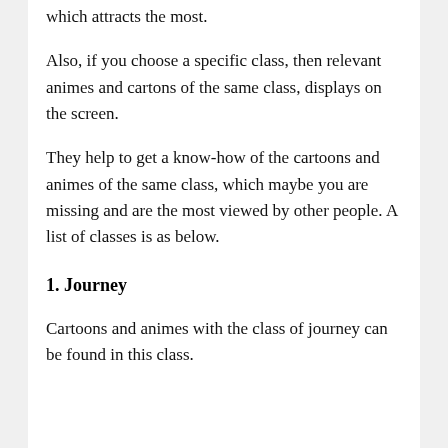which attracts the most.
Also, if you choose a specific class, then relevant animes and cartons of the same class, displays on the screen.
They help to get a know-how of the cartoons and animes of the same class, which maybe you are missing and are the most viewed by other people. A list of classes is as below.
1. Journey
Cartoons and animes with the class of journey can be found in this class.